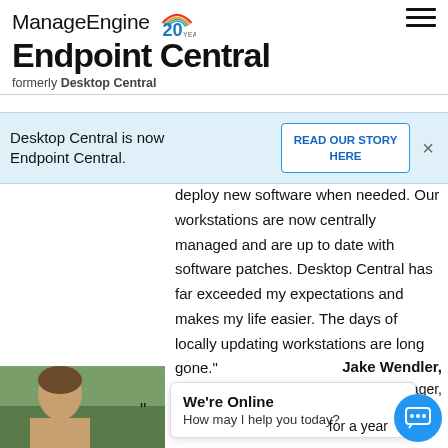ManageEngine Endpoint Central formerly Desktop Central
Desktop Central is now Endpoint Central.
READ OUR STORY HERE
deploy new software when needed. Our workstations are now centrally managed and are up to date with software patches. Desktop Central has far exceeded my expectations and makes my life easier. The days of locally updating workstations are long gone."
Jake Wendler,
IT Manager,
Dallas County Hospital, Perry, Iowa
We're Online
How may I help you today?
for a year
[Figure (photo): Photo of Jake Wendler, partially visible at bottom left]